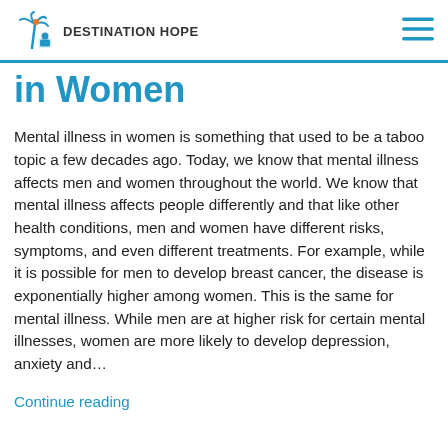DESTINATION HOPE
in Women
Mental illness in women is something that used to be a taboo topic a few decades ago.  Today, we know that mental illness affects men and women throughout the world.  We know that mental illness affects people differently and that like other health conditions, men and women have different risks, symptoms, and even different treatments. For example, while it is possible for men to develop breast cancer, the disease is exponentially higher among women.  This is the same for mental illness.  While men are at higher risk for certain mental illnesses, women are more likely to develop depression, anxiety and…
Continue reading